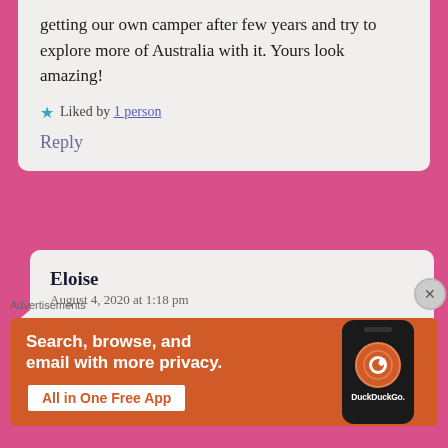getting our own camper after few years and try to explore more of Australia with it. Yours look amazing!
Liked by 1 person
Reply
Eloise
August 4, 2020 at 1:18 pm
my mom just brought up wanting a camper to travel out West last night! I'll
[Figure (screenshot): DuckDuckGo advertisement banner with orange background showing 'Search, browse, and email with more privacy. All in One Free App' with a phone image and DuckDuckGo logo]
Advertisements